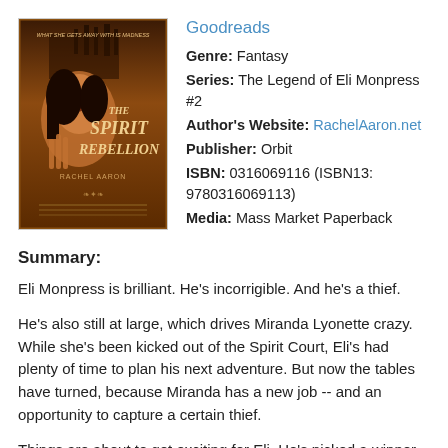[Figure (illustration): Book cover for 'The Spirit Rebellion' by Rachel Aaron. Dark fantasy cover with a woman's face and ornate castle in the background, warm orange/brown tones. Text: 'WHAT SHE GETS AWAY WITH IS MADNESS', 'THE SPIRIT REBELLION', 'RACHEL AARON']
Goodreads
Genre: Fantasy
Series: The Legend of Eli Monpress #2
Author's Website: RachelAaron.net
Publisher: Orbit
ISBN: 0316069116 (ISBN13: 9780316069113)
Media: Mass Market Paperback
Summary:
Eli Monpress is brilliant. He's incorrigible. And he's a thief.
He's also still at large, which drives Miranda Lyonette crazy. While she's been kicked out of the Spirit Court, Eli's had plenty of time to plan his next adventure. But now the tables have turned, because Miranda has a new job -- and an opportunity to capture a certain thief.
Things are about to get exciting for Eli. He's picked a winner for his newest heist. His target: the Duke of Gaol's famous "thief-proof" citadel. Eli knows Gaol is a trap, but what's life